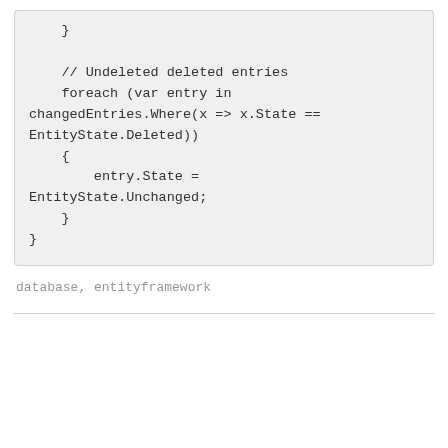}

// Undeleted deleted entries
foreach (var entry in changedEntries.Where(x => x.State == EntityState.Deleted))
{
    entry.State = EntityState.Unchanged;
}
}
database, entityframework